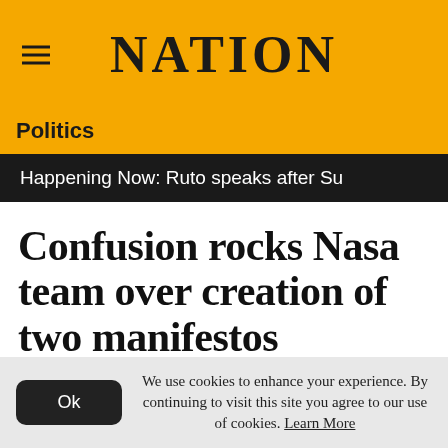NATION
Politics
Happening Now: Ruto speaks after Su
Confusion rocks Nasa team over creation of two manifestos
Tuesday, July 04, 2017 — updated on July 03, 2020
We use cookies to enhance your experience. By continuing to visit this site you agree to our use of cookies. Learn More